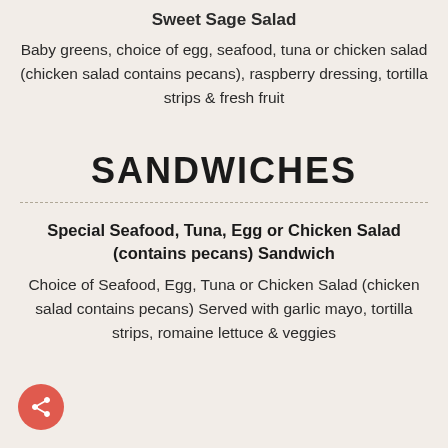Sweet Sage Salad
Baby greens, choice of egg, seafood, tuna or chicken salad (chicken salad contains pecans), raspberry dressing, tortilla strips & fresh fruit
SANDWICHES
Special Seafood, Tuna, Egg or Chicken Salad (contains pecans) Sandwich
Choice of Seafood, Egg, Tuna or Chicken Salad (chicken salad contains pecans) Served with garlic mayo, tortilla strips, romaine lettuce & veggies